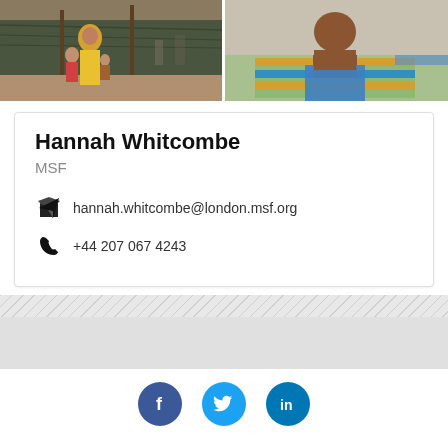[Figure (photo): Two photos side by side: left shows a woman in yellow headscarf with children outside a makeshift shelter in a refugee camp; right shows a shirtless man sitting on a colorful mat, viewed from behind, in what appears to be a medical setting.]
Hannah Whitcombe
MSF
hannah.whitcombe@london.msf.org
+44 207 067 4243
[Figure (infographic): Three social media buttons: Facebook (dark blue), Twitter (light blue), LinkedIn (blue)]